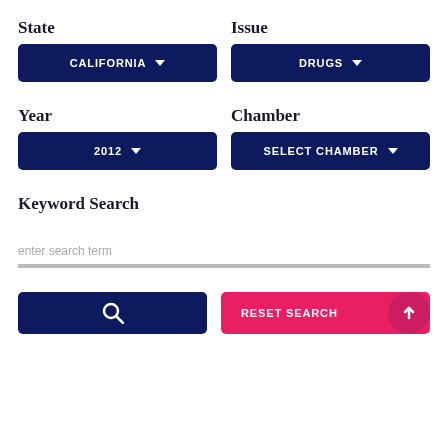State
CALIFORNIA
Issue
DRUGS
Year
2012
Chamber
SELECT CHAMBER
Keyword Search
enter search term